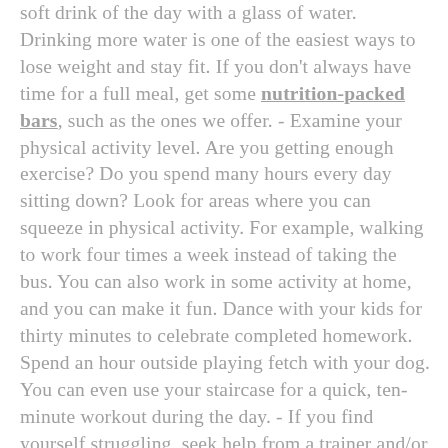soft drink of the day with a glass of water. Drinking more water is one of the easiest ways to lose weight and stay fit. If you don't always have time for a full meal, get some nutrition-packed bars, such as the ones we offer. - Examine your physical activity level. Are you getting enough exercise? Do you spend many hours every day sitting down? Look for areas where you can squeeze in physical activity. For example, walking to work four times a week instead of taking the bus. You can also work in some activity at home, and you can make it fun. Dance with your kids for thirty minutes to celebrate completed homework. Spend an hour outside playing fetch with your dog. You can even use your staircase for a quick, ten-minute workout during the day. - If you find yourself struggling, seek help from a trainer and/or nutritionist. Together, you can devise